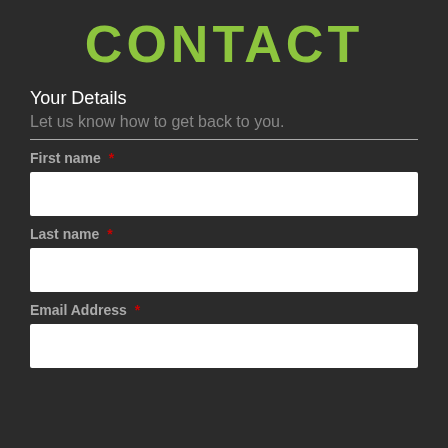CONTACT
Your Details
Let us know how to get back to you.
First name *
Last name *
Email Address *